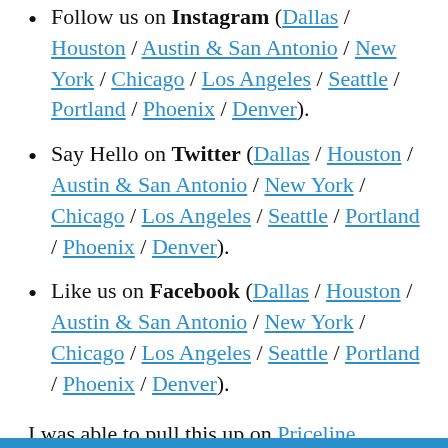Follow us on Instagram (Dallas / Houston / Austin & San Antonio / New York / Chicago / Los Angeles / Seattle / Portland / Phoenix / Denver).
Say Hello on Twitter (Dallas / Houston / Austin & San Antonio / New York / Chicago / Los Angeles / Seattle / Portland / Phoenix / Denver).
Like us on Facebook (Dallas / Houston / Austin & San Antonio / New York / Chicago / Los Angeles / Seattle / Portland / Phoenix / Denver).
I was able to pull this up on Priceline. Screenshot taken when this post was initially created. See timestamps at the top of this post.